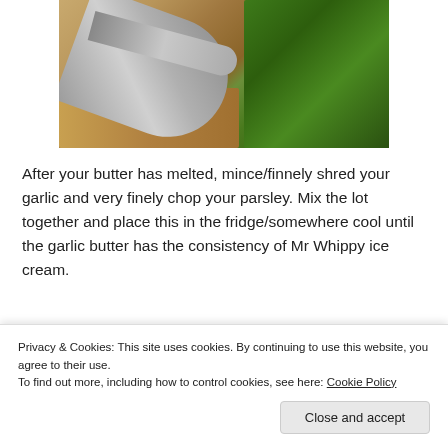[Figure (photo): Overhead view of knives on a wooden cutting board with finely chopped parsley/herbs on the right side]
After your butter has melted, mince/finnely shred your garlic and very finely chop your parsley. Mix the lot together and place this in the fridge/somewhere cool until the garlic butter has the consistency of Mr Whippy ice cream.
[Figure (photo): Partial view of pastry or bread dough, golden and flaky]
Privacy & Cookies: This site uses cookies. By continuing to use this website, you agree to their use.
To find out more, including how to control cookies, see here: Cookie Policy
Close and accept